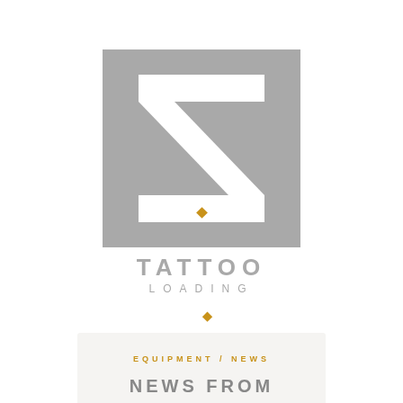[Figure (logo): Z Tattoo Loading logo — large grey square with a white bold Z letter and a small gold diamond accent at bottom center, with 'TATTOO' in grey bold text and 'LOADING' in grey spaced text below]
EQUIPMENT / NEWS
NEWS FROM CHEYENNE